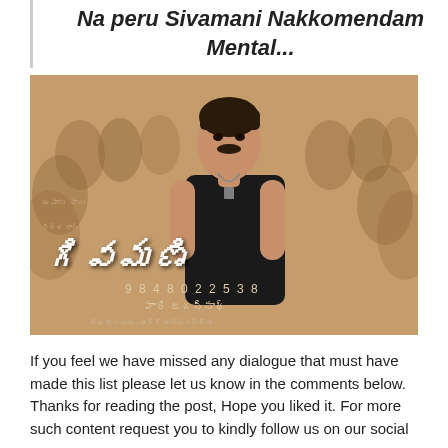Na peru Sivamani Nakkomendam Mental...
[Figure (photo): Movie poster for 'Sivamani' showing a muscular man in a black sleeveless shirt standing in front of a crowd. Telugu script text reads the movie title 'Sivamani' in large white letters. A phone number 98480 22538 is visible at the bottom along with additional Telugu text.]
If you feel we have missed any dialogue that must have made this list please let us know in the comments below. Thanks for reading the post, Hope you liked it. For more such content request you to kindly follow us on our social